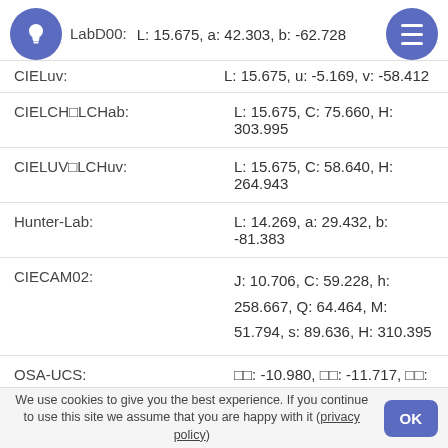LabD00: L: 15.675, a: 42.303, b: -62.728
CIELuv: L: 15.675, u: -5.169, v: -58.412
CIELCH□LCHab: L: 15.675, C: 75.660, H: 303.995
CIELUV□LCHuv: L: 15.675, C: 58.640, H: 264.943
Hunter-Lab: L: 14.269, a: 29.432, b: -81.383
CIECAM02: J: 10.706, C: 59.228, h: 258.667, Q: 64.464, M: 51.794, s: 89.636, H: 310.395
OSA-UCS: □□: -10.980, □□: -11.717, □□: 3.165
LMS: L: 0.490, M: 0.530, S: 21.665
YCbCr: Y: 37.000, Cb: 181.292, Cr: 112.740
YCoCg: Y: 41.000, Cg: -25.000, Co: -33.000
We use cookies to give you the best experience. If you continue to use this site we assume that you are happy with it (privacy policy)